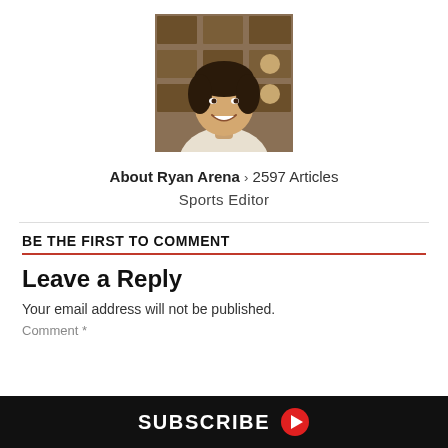[Figure (photo): Headshot photo of Ryan Arena, a smiling man with short dark hair, wearing a light colored shirt, posed in front of a wall with plaques/awards]
About Ryan Arena > 2597 Articles
Sports Editor
BE THE FIRST TO COMMENT
Leave a Reply
Your email address will not be published.
Comment *
SUBSCRIBE